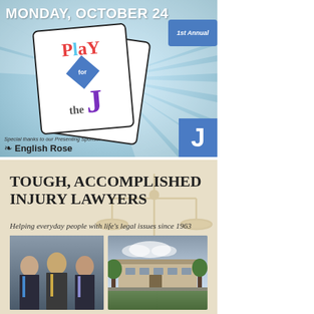[Figure (illustration): 1st Annual Play for the J event advertisement. Monday, October 24. Features playing cards logo with 'Play for the J' text in colorful letters. Special thanks to Presenting Sponsor English Rose. Blue J logo in bottom right.]
[Figure (photo): Advertisement for Tough, Accomplished Injury Lawyers. Text: TOUGH, ACCOMPLISHED INJURY LAWYERS. Helping everyday people with life's legal issues since 1963. Shows a group photo of three lawyers in suits and a photo of a building exterior.]